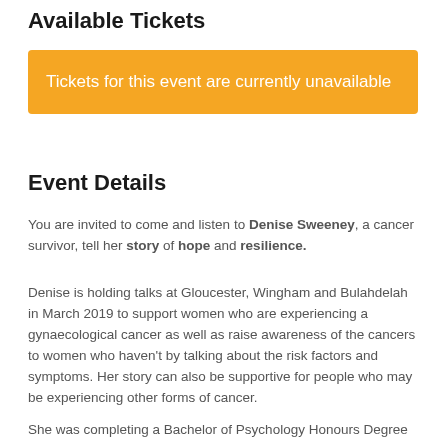Available Tickets
Tickets for this event are currently unavailable
Event Details
You are invited to come and listen to Denise Sweeney, a cancer survivor, tell her story of hope and resilience.
Denise is holding talks at Gloucester, Wingham and Bulahdelah in March 2019 to support women who are experiencing a gynaecological cancer as well as raise awareness of the cancers to women who haven't by talking about the risk factors and symptoms. Her story can also be supportive for people who may be experiencing other forms of cancer.
She was completing a Bachelor of Psychology Honours Degree when she was diagnosed, which led her to pursue a career in ...